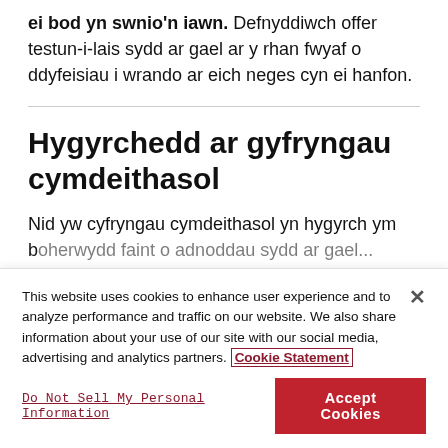ei bod yn swnio'n iawn. Defnyddiwch offer testun-i-lais sydd ar gael ar y rhan fwyaf o ddyfeisiau i wrando ar eich neges cyn ei hanfon.
Hygyrchedd ar gyfryngau cymdeithasol
Nid yw cyfryngau cymdeithasol yn hygyrch ym mhob ffordd. Dylech feddwl am...
This website uses cookies to enhance user experience and to analyze performance and traffic on our website. We also share information about your use of our site with our social media, advertising and analytics partners. Cookie Statement
Do Not Sell My Personal Information
Accept Cookies